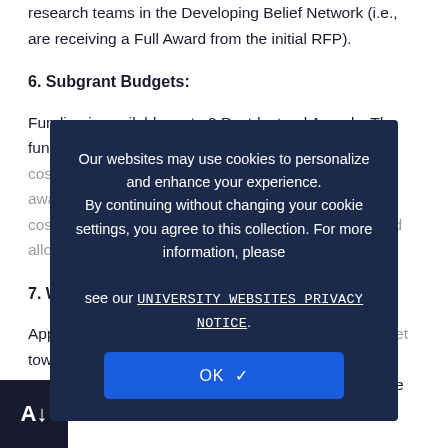research teams in the Developing Belief Network (i.e., are receiving a Full Award from the initial RFP).
6. Subgrant Budgets:
Funding is available up to 2 Postdoctoral Awards. The funds can only be used for stipend and to cover travel costs to the required meetings. The budget cap for all awards is $55,000 and inclusive of overhead (indirect costs). The Templeton Foundation maximum overhead allowable for these awards is 15%.
7. What are Required Expenses?
Applicants are required to allocate some of their budget toward travel (e.g., flights, hotels) to attend one meeting. [Lodging and ... be covered by the large project grant.]
Our websites may use cookies to personalize and enhance your experience. By continuing without changing your cookie settings, you agree to this collection. For more information, please see our UNIVERSITY WEBSITES PRIVACY NOTICE.